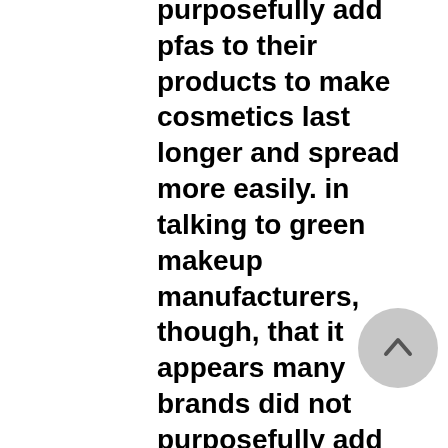purposefully add pfas to their products to make cosmetics last longer and spread more easily. in talking to green makeup manufacturers, though, that it appears many brands did not purposefully add the chemicals.

green beauty companies in particular, which tend to be smaller than their conventional counterparts, rely on third-party manufacturers to make their products — meaning the have less control over raw ingredients. pfas can also be